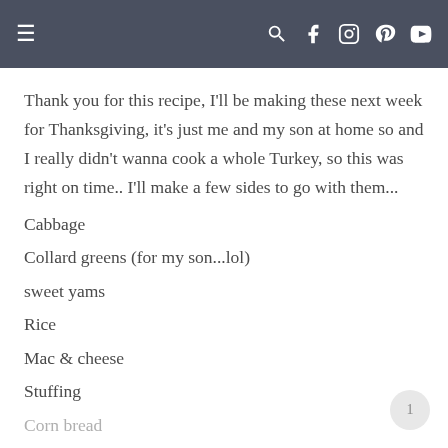☰  🔍 f 📷 p ▶
Thank you for this recipe, I'll be making these next week for Thanksgiving, it's just me and my son at home so and I really didn't wanna cook a whole Turkey, so this was right on time.. I'll make a few sides to go with them...
Cabbage
Collard greens (for my son...lol)
sweet yams
Rice
Mac & cheese
Stuffing
Corn bread
Just to name a few lol